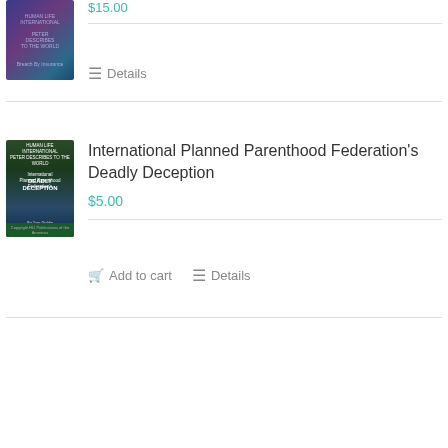[Figure (photo): Book cover for a Human Life International publication, showing a blue/purple cosmic or cellular imagery]
$15.00
Details
[Figure (photo): Book cover: International Planned Parenthood Federation's Deadly Deception, dark green and blue cover with silhouette figure]
International Planned Parenthood Federation's Deadly Deception
$5.00
Add to cart
Details